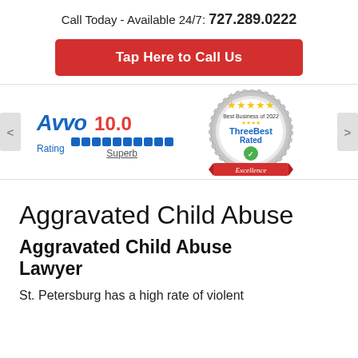Call Today - Available 24/7: 727.289.0222
Tap Here to Call Us
[Figure (logo): Avvo Rating 10.0 Superb badge with blue bar indicator]
[Figure (logo): ThreeBest Rated Best Business of 2022 Excellence badge with gold stars]
Aggravated Child Abuse
Aggravated Child Abuse Lawyer
St. Petersburg has a high rate of violent